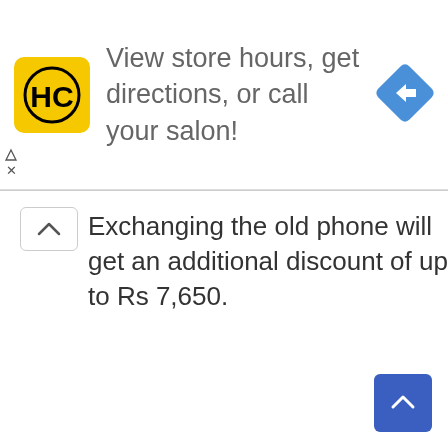[Figure (infographic): Advertisement banner for HC salon with yellow logo, navigation text 'View store hours, get directions, or call your salon!' and a blue diamond navigation icon]
Exchanging the old phone will get an additional discount of up to Rs 7,650.